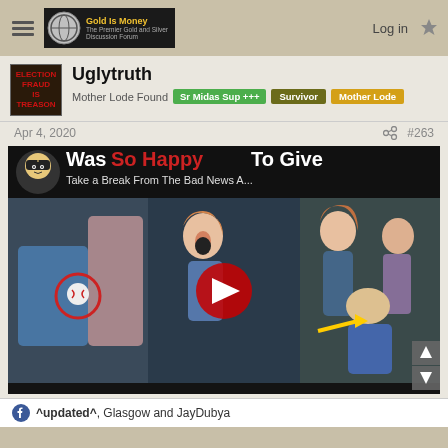Gold Is Money — The Premier Gold and Silver Discussion Forum | Log in
Uglytruth
Mother Lode Found  Sr Midas Sup +++  Survivor  Mother Lode
Apr 4, 2020  #263
[Figure (screenshot): YouTube video thumbnail showing title 'Was So Happy To Give' with subtitle 'Take a Break From The Bad News A...' and a composite image of children at a baseball game with a woman, showing a boy receiving a baseball, with a red YouTube play button overlay.]
^updated^, Glasgow and JayDubya